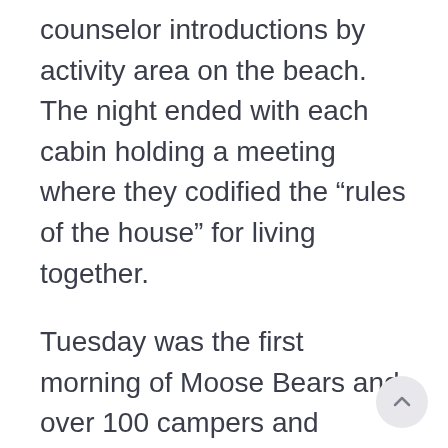counselor introductions by activity area on the beach. The night ended with each cabin holding a meeting where they codified the “rules of the house” for living together.
Tuesday was the first morning of Moose Bears and over 100 campers and counselors took part in our pre-breakfast Moose Bears swim club. (See the photo on Facebook.) Believe it or not, the majority of your kids are voluntarily going for a swim in the lake